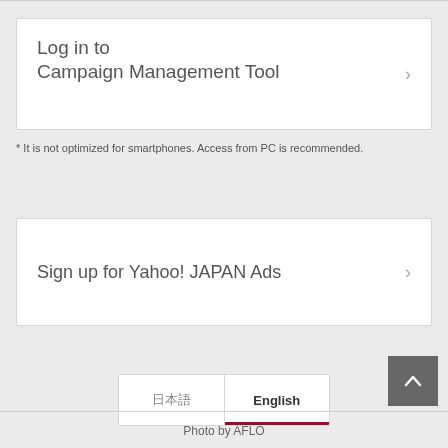Log in to
Campaign Management Tool
* It is not optimized for smartphones. Access from PC is recommended.
Sign up for Yahoo! JAPAN Ads
日本語  English
Photo by AFLO